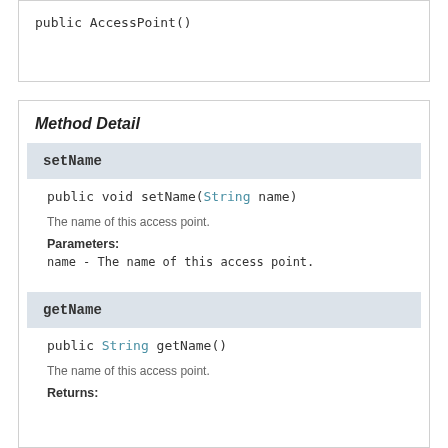public AccessPoint()
Method Detail
setName
public void setName(String name)
The name of this access point.
Parameters:
name - The name of this access point.
getName
public String getName()
The name of this access point.
Returns: